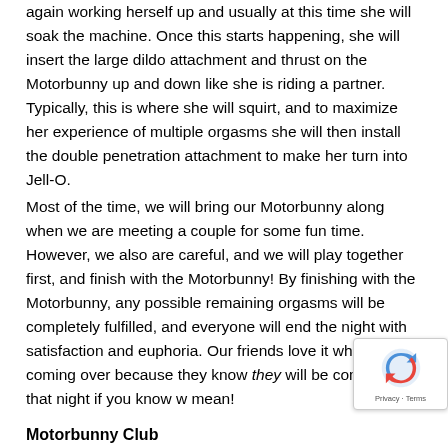again working herself up and usually at this time she will soak the machine. Once this starts happening, she will insert the large dildo attachment and thrust on the Motorbunny up and down like she is riding a partner. Typically, this is where she will squirt, and to maximize her experience of multiple orgasms she will then install the double penetration attachment to make her turn into Jell-O.
Most of the time, we will bring our Motorbunny along when we are meeting a couple for some fun time. However, we also are careful, and we will play together first, and finish with the Motorbunny! By finishing with the Motorbunny, any possible remaining orgasms will be completely fulfilled, and everyone will end the night with satisfaction and euphoria. Our friends love it when we are coming over because they know they will be coming later that night if you know w mean!
Motorbunny Club